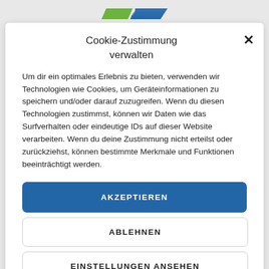[Figure (logo): Two overlapping parallelogram logo shapes: green on left, blue on right]
Cookie-Zustimmung verwalten
Um dir ein optimales Erlebnis zu bieten, verwenden wir Technologien wie Cookies, um Geräteinformationen zu speichern und/oder darauf zuzugreifen. Wenn du diesen Technologien zustimmst, können wir Daten wie das Surfverhalten oder eindeutige IDs auf dieser Website verarbeiten. Wenn du deine Zustimmung nicht erteilst oder zurückziehst, können bestimmte Merkmale und Funktionen beeinträchtigt werden.
AKZEPTIEREN
ABLEHNEN
EINSTELLUNGEN ANSEHEN
Datenschutzerklärung  IMPRESSUM